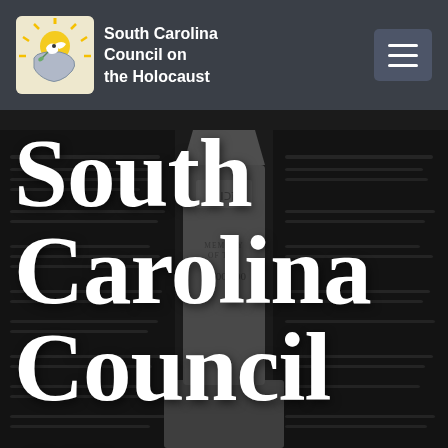[Figure (screenshot): Website screenshot of the South Carolina Council on the Holocaust homepage. A dark navigation bar at the top contains the organization logo (a dove and sunburst icon) and the text 'South Carolina Council on the Holocaust', with a hamburger menu button on the right. Below the navbar is a full-width hero image showing a black-and-white photograph of a Holocaust memorial monument, over which large white serif text reads 'South Carolina Council on the' spanning most of the page.]
South Carolina Council on the Holocaust
South Carolina
Council on
the